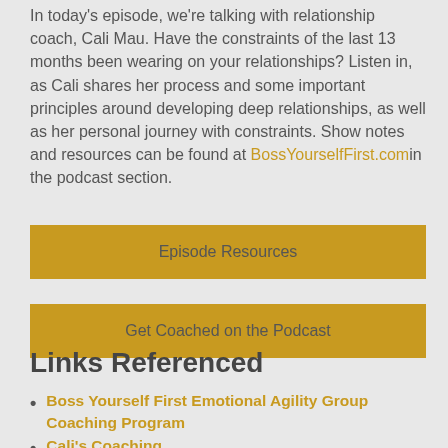In today's episode, we're talking with relationship coach, Cali Mau. Have the constraints of the last 13 months been wearing on your relationships? Listen in, as Cali shares her process and some important principles around developing deep relationships, as well as her personal journey with constraints. Show notes and resources can be found at BossYourselfFirst.com in the podcast section.
Episode Resources
Get Coached on the Podcast
Links Referenced
Boss Yourself First Emotional Agility Group Coaching Program
Cali's Coaching
Untamed by Glennon Doyle